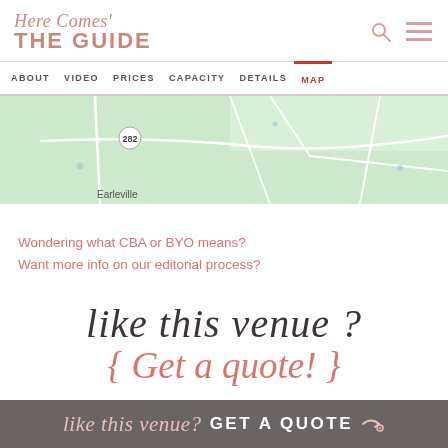Here Comes THE GUIDE
[Figure (map): Google Maps screenshot showing a green terrain map with road 282 and Earleville label]
Wondering what CBA or BYO means?
Want more info on our editorial process?
like this venue ?
{ Get a quote! }
like this venue? GET A QUOTE